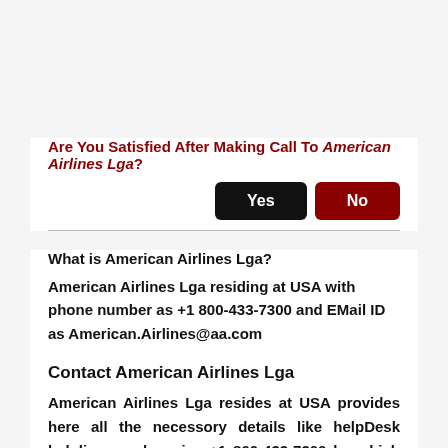Are You Satisfied After Making Call To American Airlines Lga?
Yes  No
What is American Airlines Lga?
American Airlines Lga residing at USA with phone number as +1 800-433-7300 and EMail ID as American.Airlines@aa.com
Contact American Airlines Lga
American Airlines Lga resides at USA provides here all the necessory details like helpDesk helpline numbers i.e. +1 800-433-7300 by which customers can reach to American Airlines Lga